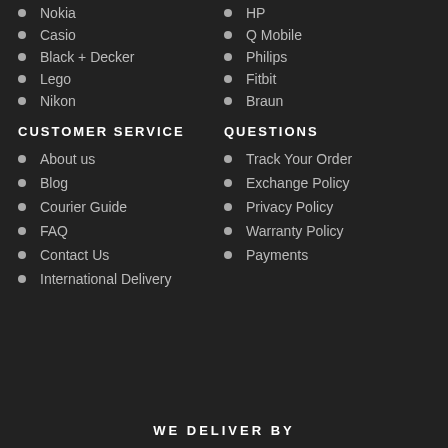Nokia
HP
Casio
Q Mobile
Black + Decker
Philips
Lego
Fitbit
Nikon
Braun
CUSTOMER SERVICE
QUESTIONS
About us
Track Your Order
Blog
Exchange Policy
Courier Guide
Privacy Policy
FAQ
Warranty Policy
Contact Us
Payments
International Delivery
WE DELIVER BY